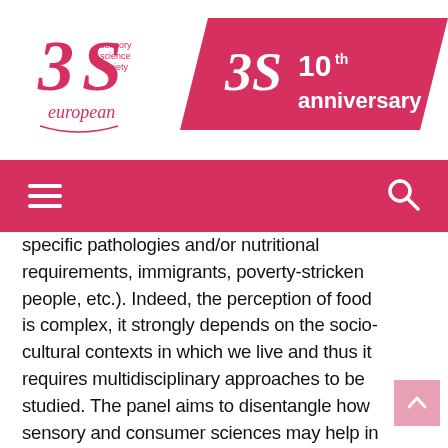[Figure (logo): European Sensory Science Society (E3S) logo — stylized '3S' with text 'sensory science society european' in pink/red]
[Figure (logo): Pink parallelogram banner with '3S' logo and '10th anniversary' text in white]
[Figure (other): Dark pink/red navigation bar with hamburger menu icon on left and search (magnifying glass) icon on right]
specific pathologies and/or nutritional requirements, immigrants, poverty-stricken people, etc.). Indeed, the perception of food is complex, it strongly depends on the socio-cultural contexts in which we live and thus it requires multidisciplinary approaches to be studied. The panel aims to disentangle how sensory and consumer sciences may help in better understanding people consumption and which factors should be considered to develop sustainable and healthy foods which meet the needs and expectations of specific groups of people, also considering their active role in research approaches based on citizen science and co-creation.